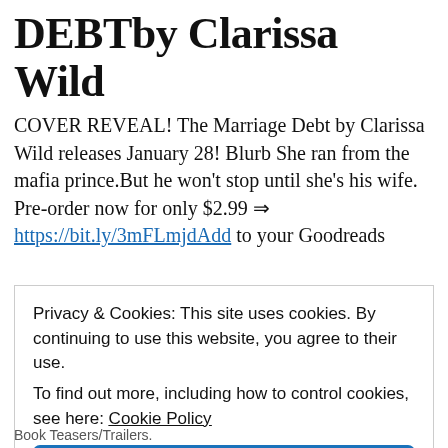DEBTby Clarissa Wild
COVER REVEAL! The Marriage Debt by Clarissa Wild releases January 28! Blurb She ran from the mafia prince.But he won't stop until she's his wife. Pre-order now for only $2.99 ⇒ https://bit.ly/3mFLmjdAdd to your Goodreads
Privacy & Cookies: This site uses cookies. By continuing to use this website, you agree to their use.
To find out more, including how to control cookies, see here: Cookie Policy
Close and accept
Book Teasers/Trailers.